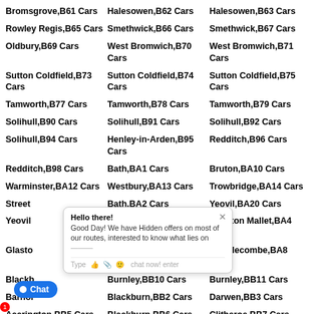Bromsgrove,B61 Cars
Halesowen,B62 Cars
Halesowen,B63 Cars
Rowley Regis,B65 Cars
Smethwick,B66 Cars
Smethwick,B67 Cars
Oldbury,B69 Cars
West Bromwich,B70 Cars
West Bromwich,B71 Cars
Sutton Coldfield,B73 Cars
Sutton Coldfield,B74 Cars
Sutton Coldfield,B75 Cars
Tamworth,B77 Cars
Tamworth,B78 Cars
Tamworth,B79 Cars
Solihull,B90 Cars
Solihull,B91 Cars
Solihull,B92 Cars
Solihull,B94 Cars
Henley-in-Arden,B95 Cars
Redditch,B96 Cars
Redditch,B98 Cars
Bath,BA1 Cars
Bruton,BA10 Cars
Warminster,BA12 Cars
Westbury,BA13 Cars
Trowbridge,BA14 Cars
Street
Bath,BA2 Cars
Yeovil,BA20 Cars
Yeovil
Radstock,BA3 Cars
Shepton Mallet,BA4 Cars
Glastonbury
Castle Cary,BA7 Cars
Templecombe,BA8 Cars
Blackburn
Burnley,BB10 Cars
Burnley,BB11 Cars
Barnoldswick
Blackburn,BB2 Cars
Darwen,BB3 Cars
Accrington,BB5 Cars
Blackburn,BB6 Cars
Clitheroe,BB7 Cars